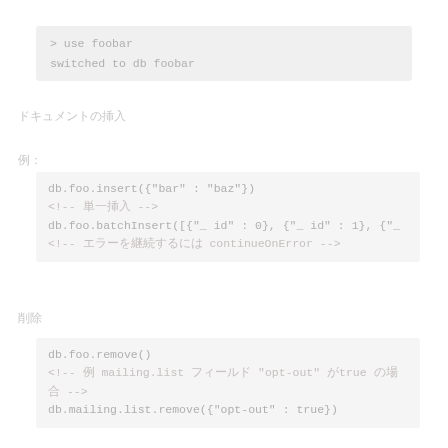> use foobar
switched to db foobar
ドキュメントの挿入
例：
db.foo.insert({"bar" : "baz"})
<!-- 単一挿入 -->
db.foo.batchInsert([{"_ id" : 0}, {"_ id" : 1}, {"_
<!-- エラーを継続するには continueOnError -->
削除
db.foo.remove()
<!-- 例 mailing.list フィールド "opt-out" がtrue の場合 -->
db.mailing.list.remove({"opt-out" : true})